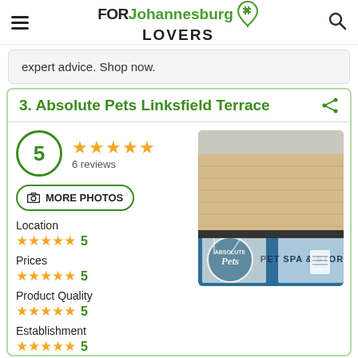FOR Johannesburg LOVERS
expert advice. Shop now.
3. Absolute Pets Linksfield Terrace
5 — 6 reviews
Location ★★★★★ 5
Prices ★★★★★ 5
Product Quality ★★★★★ 5
Establishment ★★★★★ 5
[Figure (photo): Absolute Pets storefront showing logo and PET SPA & STORE signage]